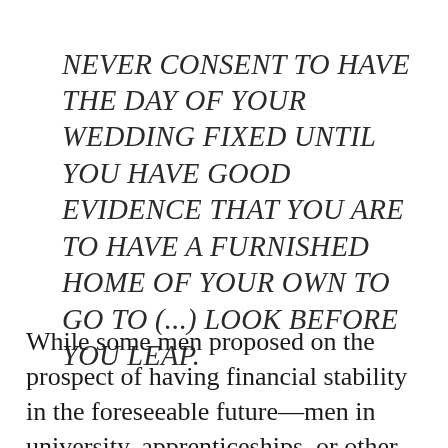NEVER CONSENT TO HAVE THE DAY OF YOUR WEDDING FIXED UNTIL YOU HAVE GOOD EVIDENCE THAT YOU ARE TO HAVE A FURNISHED HOME OF YOUR OWN TO GO TO (...) LOOK BEFORE YOU LEAP.
While some men proposed on the prospect of having financial stability in the foreseeable future—men in university, apprenticeships, or other